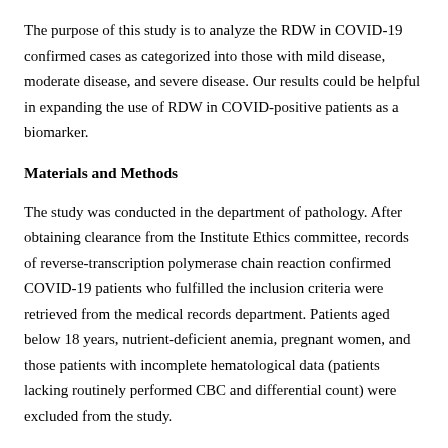The purpose of this study is to analyze the RDW in COVID-19 confirmed cases as categorized into those with mild disease, moderate disease, and severe disease. Our results could be helpful in expanding the use of RDW in COVID-positive patients as a biomarker.
Materials and Methods
The study was conducted in the department of pathology. After obtaining clearance from the Institute Ethics committee, records of reverse-transcription polymerase chain reaction confirmed COVID-19 patients who fulfilled the inclusion criteria were retrieved from the medical records department. Patients aged below 18 years, nutrient-deficient anemia, pregnant women, and those patients with incomplete hematological data (patients lacking routinely performed CBC and differential count) were excluded from the study.
The patients are categorized as mild, moderate, and severe. According to Ministry of Health and Family Welfare (India) guidelines, COVID-19 is clinically classified as (1) Mild-uncomplicated upper respiratory tract symptoms such as malaise, fever, sore throat without any evidence of hypoxia, (2) moderate pneumonia with no signs of severe disease and clinical features of dyspnea or